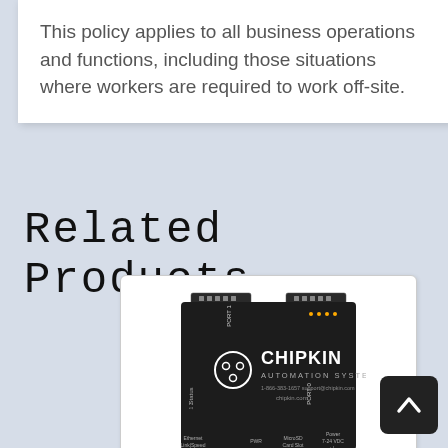This policy applies to all business operations and functions, including those situations where workers are required to work off-site.
Related Products
[Figure (photo): Photo of a Chipkin Automation Systems device (black box industrial gateway) with labels for PORT 1, PORT 0, Status, Ethernet Link/Speed, PWR, MicroSD Card Slot, Power 7-24 VDC +/-]
CAS 2700-02B Vendor Boot